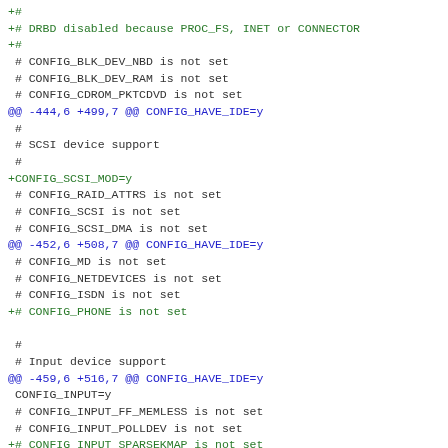+#
+# DRBD disabled because PROC_FS, INET or CONNECTOR
+#
 # CONFIG_BLK_DEV_NBD is not set
 # CONFIG_BLK_DEV_RAM is not set
 # CONFIG_CDROM_PKTCDVD is not set
@@ -444,6 +499,7 @@ CONFIG_HAVE_IDE=y
 #
 # SCSI device support
 #
+CONFIG_SCSI_MOD=y
 # CONFIG_RAID_ATTRS is not set
 # CONFIG_SCSI is not set
 # CONFIG_SCSI_DMA is not set
@@ -452,6 +508,7 @@ CONFIG_HAVE_IDE=y
 # CONFIG_MD is not set
 # CONFIG_NETDEVICES is not set
 # CONFIG_ISDN is not set
+# CONFIG_PHONE is not set

 #
 # Input device support
@@ -459,6 +516,7 @@ CONFIG_HAVE_IDE=y
 CONFIG_INPUT=y
 # CONFIG_INPUT_FF_MEMLESS is not set
 # CONFIG_INPUT_POLLDEV is not set
+# CONFIG_INPUT_SPARSEKMAP is not set

 #
 # Userland interfaces